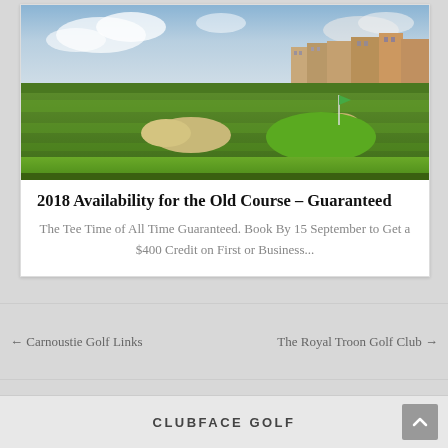[Figure (photo): Aerial/ground-level photograph of a golf course (Old Course at St Andrews) with green fairways, bunkers, and historic town buildings in the background under a partly cloudy sky.]
2018 Availability for the Old Course – Guaranteed
The Tee Time of All Time Guaranteed. Book By 15 September to Get a $400 Credit on First or Business...
← Carnoustie Golf Links
The Royal Troon Golf Club →
CLUBFACE GOLF